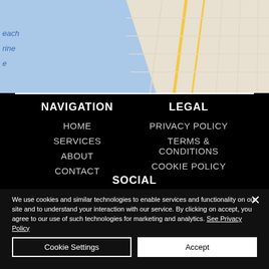[Figure (map): Partial Google Maps view showing coastal area with blue water and road grid]
NAVIGATION
HOME
SERVICES
ABOUT
CONTACT
LEGAL
PRIVACY POLICY
TERMS & CONDITIONS
COOKIE POLICY
SOCIAL
We use cookies and similar technologies to enable services and functionality on our site and to understand your interaction with our service. By clicking on accept, you agree to our use of such technologies for marketing and analytics. See Privacy Policy
Cookie Settings
Accept